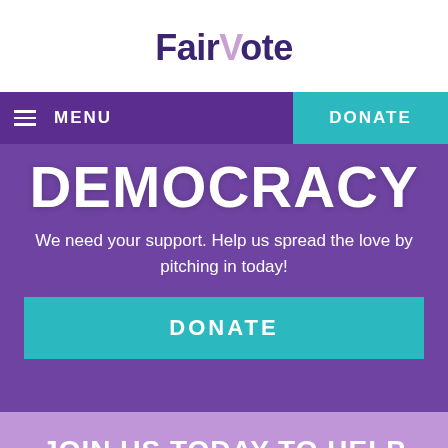FairVote
MENU
DONATE
DEMOCRACY
We need your support. Help us spread the love by pitching in today!
DONATE
JOIN US TODAY TO HELP CREATE A MORE PERFECT UNION
Enter your email